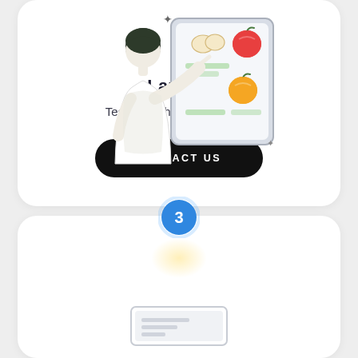[Figure (illustration): Illustration of a person from behind pointing at a digital tablet/board displaying food items (eggs, apple, orange) with a checklist. Sparkle/star decorations around the tablet.]
Launch
Test & lunch of the software
CONTACT US
[Figure (illustration): Blue circle badge with number 3, with a glowing yellow circle below and dashed arrow marks to the upper right. Bottom of a new card section partially visible.]